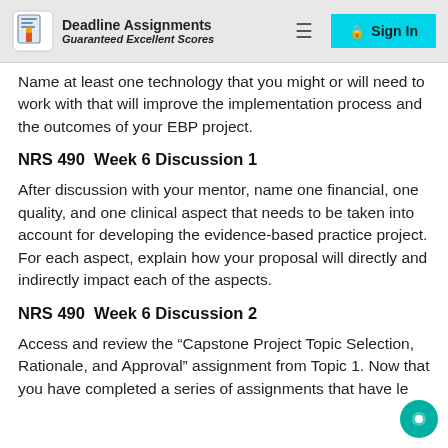Deadline Assignments Guaranteed Excellent Scores
Name at least one technology that you might or will need to work with that will improve the implementation process and the outcomes of your EBP project.
NRS 490  Week 6 Discussion 1
After discussion with your mentor, name one financial, one quality, and one clinical aspect that needs to be taken into account for developing the evidence-based practice project. For each aspect, explain how your proposal will directly and indirectly impact each of the aspects.
NRS 490  Week 6 Discussion 2
Access and review the “Capstone Project Topic Selection, Rationale, and Approval” assignment from Topic 1. Now that you have completed a series of assignments that have le…